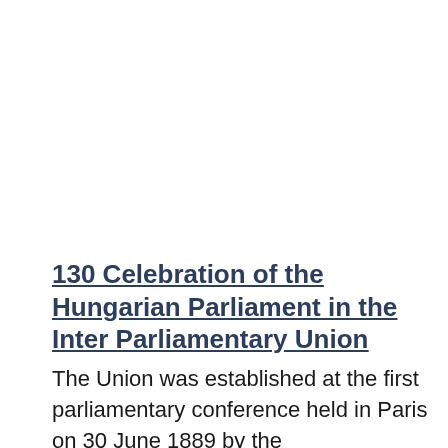130 Celebration of the Hungarian Parliament in the Inter Parliamentary Union
The Union was established at the first parliamentary conference held in Paris on 30 June 1889 by the representatives of the parliaments of 9 countries including one from the Hungarian Parliament. Hungary